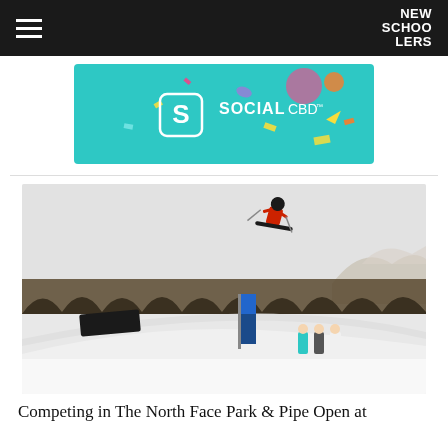NEW SCHOOLERS
[Figure (screenshot): Social CBD advertisement banner with teal background and colorful confetti]
[Figure (photo): Skier in red jacket performing an aerial trick above a halfpipe at The North Face Park & Pipe Open competition, with a snowy mountain slope, trees, and spectators visible below]
Competing in The North Face Park &amp; Pipe Open at